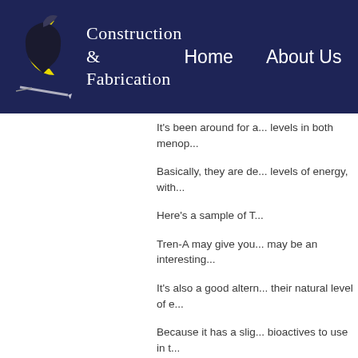Construction & Fabrication | Home | About Us
It's been around for... levels in both menop...
Basically, they are de... levels of energy, with...
Here's a sample of T...
Tren-A may give you... may be an interesting...
It's also a good altern... their natural level of e...
Because it has a slig... bioactives to use in t...